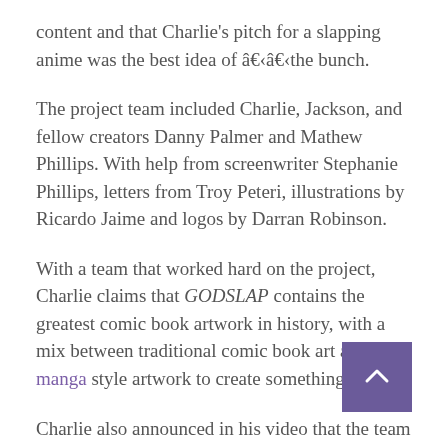content and that Charlie's pitch for a slapping anime was the best idea of â€‹â€‹the bunch.
The project team included Charlie, Jackson, and fellow creators Danny Palmer and Mathew Phillips. With help from screenwriter Stephanie Phillips, letters from Troy Peteri, illustrations by Ricardo Jaime and logos by Darran Robinson.
With a team that worked hard on the project, Charlie claims that GODSLAP contains the greatest comic book artwork in history, with a mix between traditional comic book art and manga style artwork to create something fresh.
Charlie also announced in his video that the team was in the process of having the first 15 pages of the comic animated. He also claims that they have secured pitching opportunities with streaming platforms that could potentially take GODSLAP in its first full season